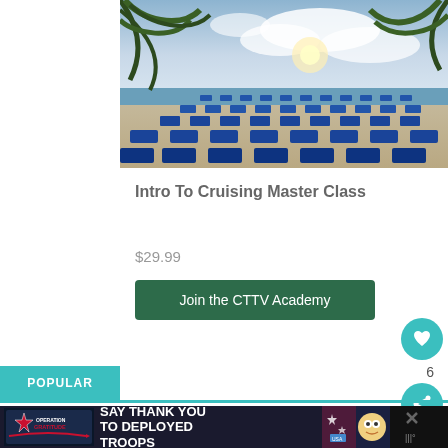[Figure (photo): Beach scene with blue lounge chairs arranged in rows on sand, palm trees in foreground, ocean and cloudy sky in background]
Intro To Cruising Master Class
$29.99
Join the CTTV Academy
6
POPULAR
[Figure (infographic): Operation Gratitude advertisement banner: SAY THANK YOU TO DEPLOYED TROOPS]